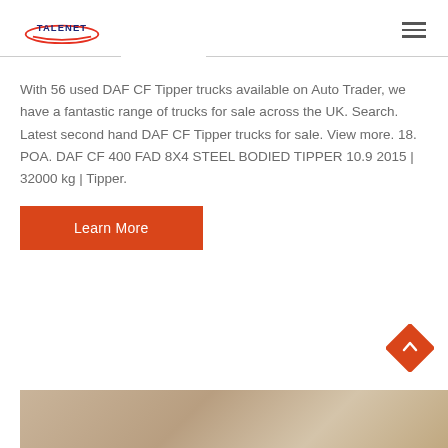TALENET
With 56 used DAF CF Tipper trucks available on Auto Trader, we have a fantastic range of trucks for sale across the UK. Search. Latest second hand DAF CF Tipper trucks for sale. View more. 18. POA. DAF CF 400 FAD 8X4 STEEL BODIED TIPPER 10.9 2015 | 32000 kg | Tipper.
Learn More
[Figure (photo): Interior photo visible at the bottom of the page]